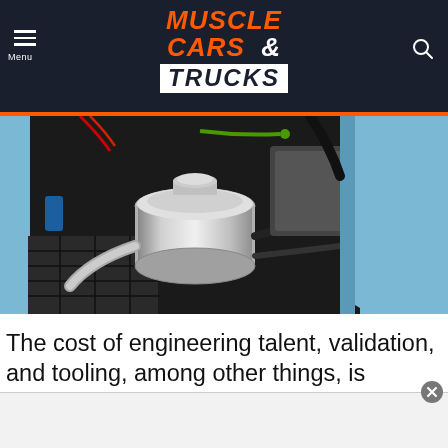Muscle Cars & Trucks
[Figure (photo): Close-up of a car engine bay showing a polished chrome air intake/reservoir on what appears to be a light blue muscle car, with carbon fiber components visible]
The cost of engineering talent, validation, and tooling, among other things, is prohibitively expensive to be a